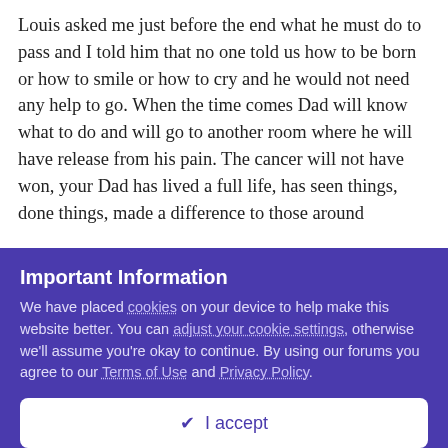Louis asked me just before the end what he must do to pass and I told him that no one told us how to be born or how to smile or how to cry and he would not need any help to go. When the time comes Dad will know what to do and will go to another room where he will have release from his pain. The cancer will not have won, your Dad has lived a full life, has seen things, done things, made a difference to those around
Important Information
We have placed cookies on your device to help make this website better. You can adjust your cookie settings, otherwise we'll assume you're okay to continue. By using our forums you agree to our Terms of Use and Privacy Policy.
✔ I accept